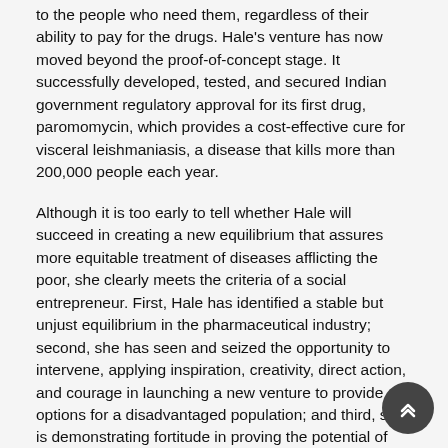to the people who need them, regardless of their ability to pay for the drugs. Hale's venture has now moved beyond the proof-of-concept stage. It successfully developed, tested, and secured Indian government regulatory approval for its first drug, paromomycin, which provides a cost-effective cure for visceral leishmaniasis, a disease that kills more than 200,000 people each year.
Although it is too early to tell whether Hale will succeed in creating a new equilibrium that assures more equitable treatment of diseases afflicting the poor, she clearly meets the criteria of a social entrepreneur. First, Hale has identified a stable but unjust equilibrium in the pharmaceutical industry; second, she has seen and seized the opportunity to intervene, applying inspiration, creativity, direct action, and courage in launching a new venture to provide options for a disadvantaged population; and third, she is demonstrating fortitude in proving the potential of her model with an early success.
Time will tell whether Hale's innovation inspires others to replicate her efforts, or whether the Institute for OneWorld Health itself achieves the scale necessary to bring about that permanent equilibrium shift. But the signs are promising. Looking ahead a decade or more, her investors – the Skoll Foundation is one – can imagine the day when Hale's Institute